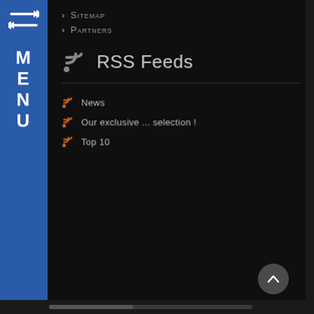[Figure (screenshot): Blue sidebar with double arrow icon and MENU text vertically stacked]
Sitemap
Partners
RSS Feeds
News
Our exclusive ... selection !
Top 10